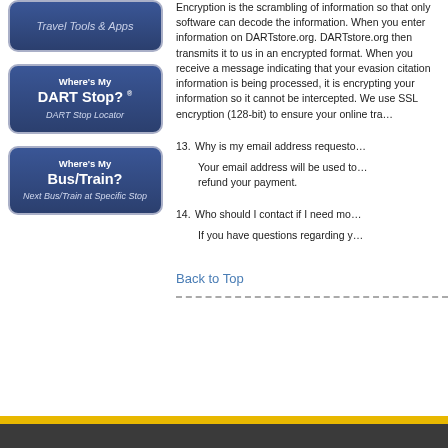[Figure (screenshot): Travel Tools & Apps navigation button (dark blue rounded rectangle)]
[Figure (screenshot): Where's My DART Stop? navigation button with DART Stop Locator subtitle (dark blue rounded rectangle)]
[Figure (screenshot): Where's My Bus/Train? navigation button with Next Bus/Train at Specific Stop subtitle (dark blue rounded rectangle)]
Encryption is the scrambling of information so that only software can decode the information. When you enter information on DARTstore.org. DARTstore.org then transmits it to us in an encrypted format. When you receive a message indicating that your evasion citation information is being processed, it is encrypting your information so it cannot be intercepted. We use SSL encryption (128-bit) to ensure your online tra...
13. Why is my email address requesto...
Your email address will be used to... refund your payment.
14. Who should I contact if I need mo...
If you have questions regarding y...
Back to Top